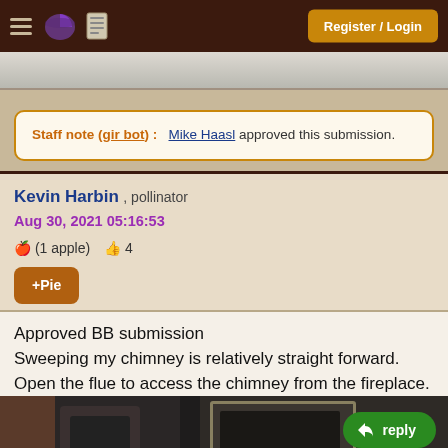Register / Login
[Figure (screenshot): Partial image at top of page, gray/white tones, partial view of a surface]
Staff note (gir bot) :  Mike Haasl approved this submission.
Kevin Harbin , pollinator
Aug 30, 2021 05:16:53
🍎 (1 apple) 👍 4
+Pie
Approved BB submission
Sweeping my chimney is relatively straight forward.
Open the flue to access the chimney from the fireplace.
[Figure (photo): Photo of a fireplace/chimney cleaning scene with a black pot/bucket and fireplace tools. A reply button is overlaid.]